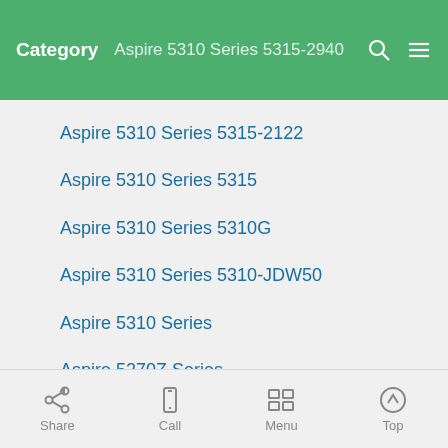Category  Aspire 5310 Series 5315-2940
Aspire 5310 Series 5315-2122
Aspire 5310 Series 5315
Aspire 5310 Series 5310G
Aspire 5310 Series 5310-JDW50
Aspire 5310 Series
Aspire 5270Z Series
Aspire 5230 Series
Aspire 5220 Series
Share  Call  Menu  Top